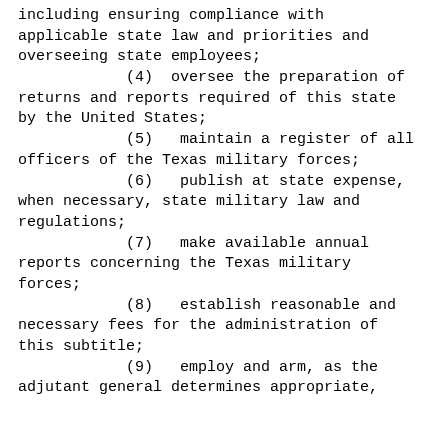including ensuring compliance with applicable state law and priorities and overseeing state employees;
(4)  oversee the preparation of returns and reports required of this state by the United States;
(5)   maintain a register of all officers of the Texas military forces;
(6)   publish at state expense, when necessary, state military law and regulations;
(7)   make available annual reports concerning the Texas military forces;
(8)   establish reasonable and necessary fees for the administration of this subtitle;
(9)   employ and arm, as the adjutant general determines appropriate,